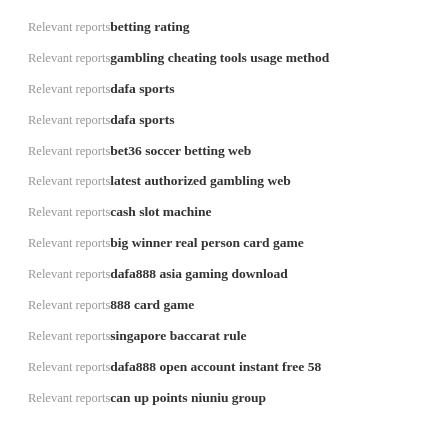Relevant reports‐betting rating
Relevant reports‐gambling cheating tools usage method
Relevant reports‐dafa sports
Relevant reports‐dafa sports
Relevant reports‐bet36 soccer betting web
Relevant reports‐latest authorized gambling web
Relevant reports‐cash slot machine
Relevant reports‐big winner real person card game
Relevant reports‐dafa888 asia gaming download
Relevant reports‐888 card game
Relevant reports‐singapore baccarat rule
Relevant reports‐dafa888 open account instant free 58
Relevant reports‐can up points niuniu group